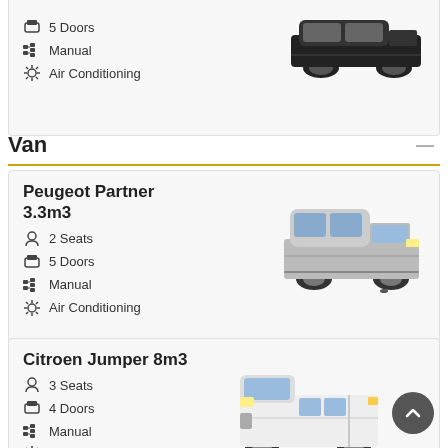5 Doors
Manual
Air Conditioning
[Figure (photo): Black SUV car side view (partial top card)]
Van
Peugeot Partner 3.3m3
2 Seats
5 Doors
Manual
Air Conditioning
[Figure (photo): Peugeot Partner van, silver/grey, front-right view]
Citroen Jumper 8m3
3 Seats
4 Doors
Manual
Air Conditioning
[Figure (photo): Citroen Jumper large white van, front-right view]